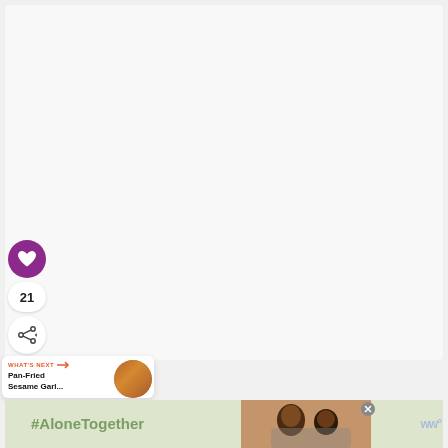[Figure (screenshot): Large white/light gray main content area of a recipe webpage]
[Figure (illustration): Purple circular heart/favorite button icon]
21
[Figure (illustration): White circular share button with share icon]
WHAT'S NEXT → Pan-Fried Sesame Garl...
[Figure (photo): Round thumbnail photo of pan-fried sesame garlic dish]
[Figure (photo): #AloneTogether advertisement banner with photo of father and daughter on laptop, with close button and WW logo]